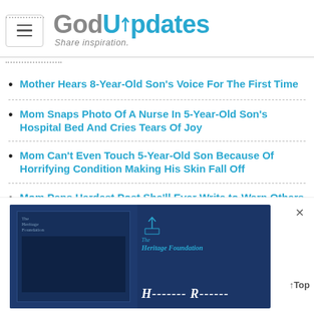GodUpdates — Share inspiration.
Mother Hears 8-Year-Old Son's Voice For The First Time
Mom Snaps Photo Of A Nurse In 5-Year-Old Son's Hospital Bed And Cries Tears Of Joy
Mom Can't Even Touch 5-Year-Old Son Because Of Horrifying Condition Making His Skin Fall Off
Mom Pens Hardest Post She'll Ever Write to Warn Others After 9-Year-Old Son's Tragic Death
[Figure (screenshot): Advertisement banner for The Heritage Foundation showing a dark blue book cover image on the left and The Heritage Foundation logo on the right with a close (X) button.]